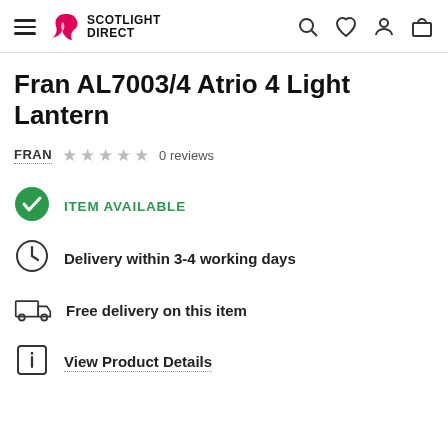Scotlight Direct
Fran AL7003/4 Atrio 4 Light Lantern
FRAN  ★ ★ ★ ★ ★  0 reviews
ITEM AVAILABLE
Delivery within 3-4 working days
Free delivery on this item
View Product Details